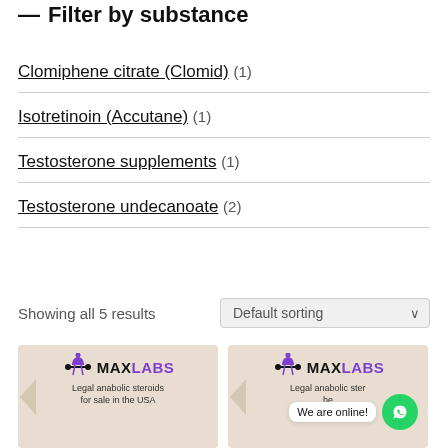— Filter by substance
Clomiphene citrate (Clomid) (1)
Isotretinoin (Accutane) (1)
Testosterone supplements (1)
Testosterone undecanoate (2)
Showing all 5 results
[Figure (screenshot): MaxLabs product card - Legal anabolic steroids for sale in the USA]
[Figure (screenshot): MaxLabs product card - Legal anabolic steroids for sale in the USA with WhatsApp chat bubble saying We are online!]